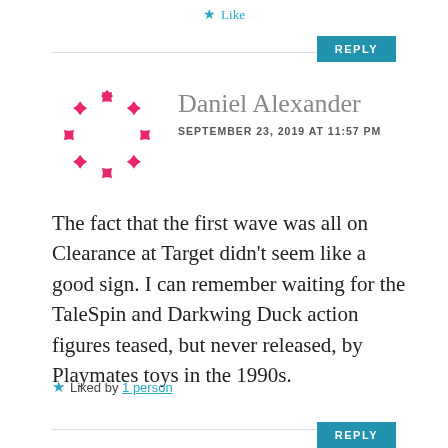Like
REPLY
[Figure (logo): Pink/magenta decorative circular avatar made of X/cross shapes arranged in a ring]
Daniel Alexander
SEPTEMBER 23, 2019 AT 11:57 PM
The fact that the first wave was all on Clearance at Target didn’t seem like a good sign. I can remember waiting for the TaleSpin and Darkwing Duck action figures teased, but never released, by Playmates toys in the 1990s.
Liked by 1 person
REPLY